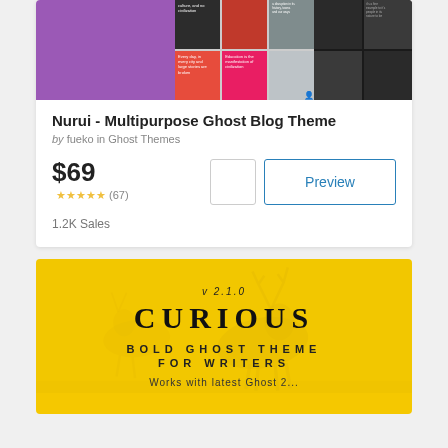[Figure (screenshot): Product card screenshot of Nurui Multipurpose Ghost Blog Theme showing purple gradient thumbnail image and small grid of article preview thumbnails]
Nurui - Multipurpose Ghost Blog Theme
by fueko in Ghost Themes
$69
(67)
Preview
1.2K Sales
[Figure (screenshot): Curious Bold Ghost Theme for Writers product banner with yellow background and deer silhouette, showing v 2.1.0, CURIOUS, BOLD GHOST THEME FOR WRITERS]